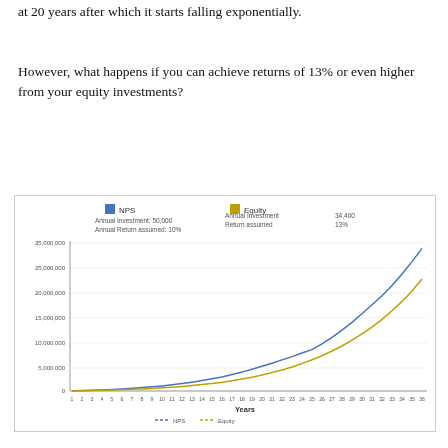at 20 years after which it starts falling exponentially.
However, what happens if you can achieve returns of 13% or even higher from your equity investments?
[Figure (line-chart): ]